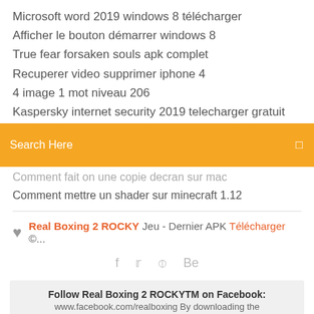Microsoft word 2019 windows 8 télécharger
Afficher le bouton démarrer windows 8
True fear forsaken souls apk complet
Recuperer video supprimer iphone 4
4 image 1 mot niveau 206
Kaspersky internet security 2019 telecharger gratuit
[Figure (screenshot): Orange search bar with 'Search Here' placeholder text and a small icon on the right]
Comment fait on une copie decran sur mac
Comment mettre un shader sur minecraft 1.12
Real Boxing 2 ROCKY Jeu - Dernier APK Télécharger ©...
Social icons: f  (twitter)  (dribbble)  Be
Follow Real Boxing 2 ROCKYTM on Facebook: www.facebook.com/realboxing By downloading the